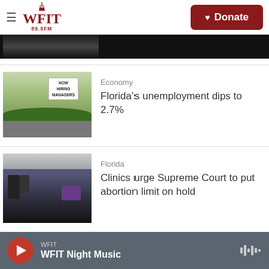WFIT 89.5FM — Donate
[Figure (photo): Partial top image strip, dark background]
[Figure (photo): Sign reading NOW HIRING MANAGERS, parking lot with shrubs and road]
Economy
Florida's unemployment dips to 2.7%
[Figure (photo): Protest crowd with purple sign, people with raised arms]
Florida
Clinics urge Supreme Court to put abortion limit on hold
WFIT — WFIT Night Music